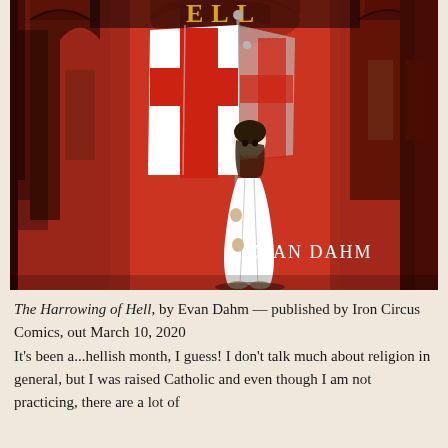[Figure (illustration): Book cover of 'The Harrowing of Hell' by Evan Dahm. Red and black illustration showing a robed figure holding a large white cross flag with a red cross, standing in an arched architectural space. Author name 'EVAN DAHM' in white serif text at bottom right. Partial title text visible at top in yellow/gold.]
The Harrowing of Hell, by Evan Dahm — published by Iron Circus Comics, out March 10, 2020
It's been a...hellish month, I guess! I don't talk much about religion in general, but I was raised Catholic and even though I am not practicing, there are a lot of